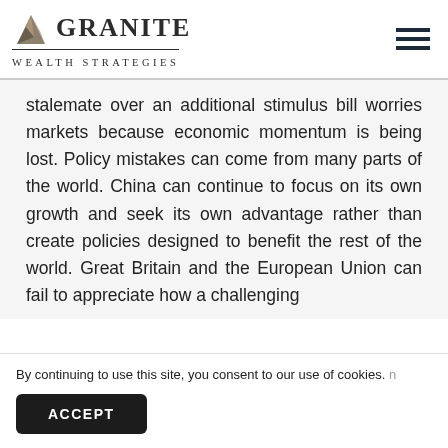GRANITE WEALTH STRATEGIES
stalemate over an additional stimulus bill worries markets because economic momentum is being lost. Policy mistakes can come from many parts of the world. China can continue to focus on its own growth and seek its own advantage rather than create policies designed to benefit the rest of the world. Great Britain and the European Union can fail to appreciate how a challenging
By continuing to use this site, you consent to our use of cookies.
ACCEPT